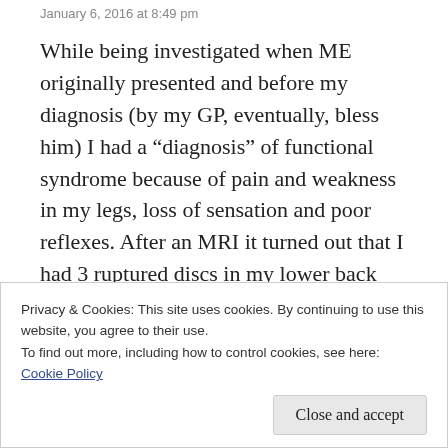January 6, 2016 at 8:49 pm
While being investigated when ME originally presented and before my diagnosis (by my GP, eventually, bless him) I had a “diagnosis” of functional syndrome because of pain and weakness in my legs, loss of sensation and poor reflexes. After an MRI it turned out that I had 3 ruptured discs in my lower back putting pressure on my spinal cord…..But hey, what’s a little evidence?
Privacy & Cookies: This site uses cookies. By continuing to use this website, you agree to their use.
To find out more, including how to control cookies, see here:
Cookie Policy
Close and accept